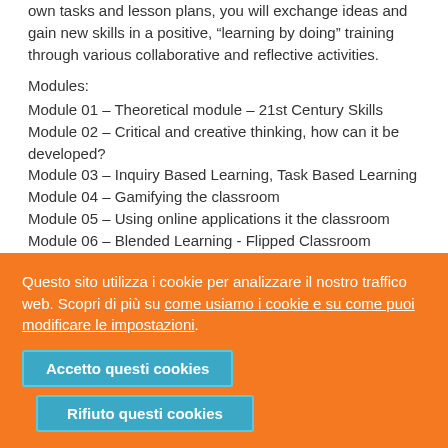own tasks and lesson plans, you will exchange ideas and gain new skills in a positive, “learning by doing” training through various collaborative and reflective activities.
Modules:
Module 01 – Theoretical module – 21st Century Skills
Module 02 – Critical and creative thinking, how can it be developed?
Module 03 – Inquiry Based Learning, Task Based Learning
Module 04 – Gamifying the classroom
Module 05 – Using online applications it the classroom
Module 06 – Blended Learning - Flipped Classroom
Module 07 – Adapting teaching materials to suit the
Questo sito utilizza i cookie per analizzare il nostro traffico web. Scopri di più su come usiamo i cookie e su come puoi modificare le impostazioni.
Accetto questi cookies
Rifiuto questi cookies
Guided City Tour